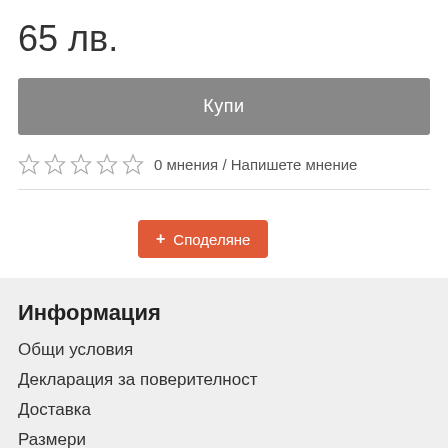65 лв.
Купи
☆ ☆ ☆ ☆ ☆ 0 мнения / Напишете мнение
Споделяне
Информация
Общи условия
Декларация за поверителност
Доставка
Размери
Производители